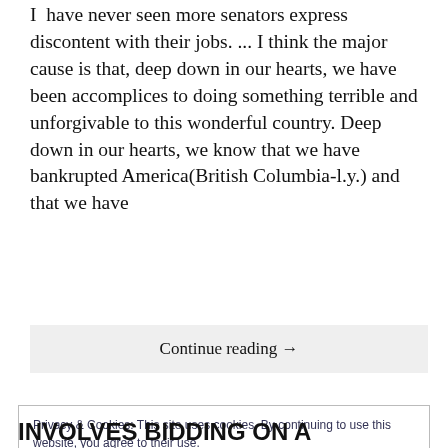I have never seen more senators express discontent with their jobs. ... I think the major cause is that, deep down in our hearts, we have been accomplices to doing something terrible and unforgivable to this wonderful country. Deep down in our hearts, we know that we have bankrupted America(British Columbia-l.y.) and that we have
Continue reading →
Privacy & Cookies: This site uses cookies. By continuing to use this website, you agree to their use.
To find out more, including how to control cookies, see here:
Cookie Policy
Close and accept
INVOLVES BIDDING ON A